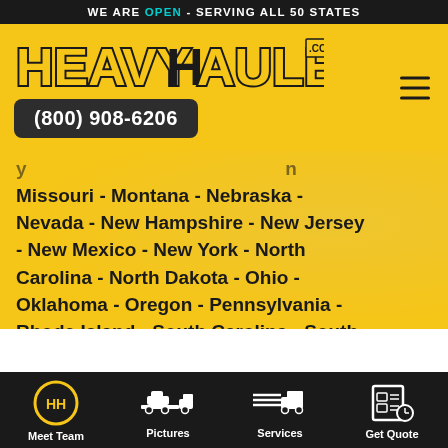WE ARE OPEN - SERVING ALL 50 STATES
[Figure (logo): HeavyHaulers.com logo in distressed yellow and black block letters on yellow background, with phone number (800) 908-6206 and hamburger menu icon]
Missouri - Montana - Nebraska - Nevada - New Hampshire - New Jersey - New Mexico - New York - North Carolina - North Dakota - Ohio - Oklahoma - Oregon - Pennsylvania - Rhode Island - South Carolina - South
Meet Team | Pictures | Services | Get Quote